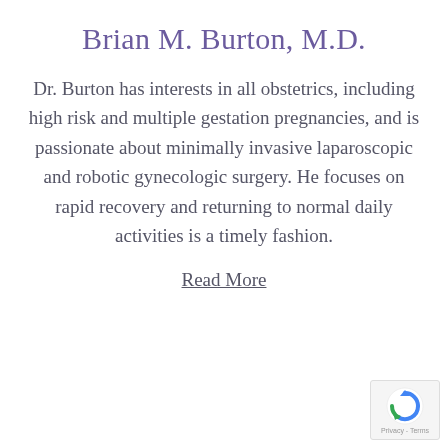Brian M. Burton, M.D.
Dr. Burton has interests in all obstetrics, including high risk and multiple gestation pregnancies, and is passionate about minimally invasive laparoscopic and robotic gynecologic surgery. He focuses on rapid recovery and returning to normal daily activities is a timely fashion.
Read More
[Figure (logo): reCAPTCHA badge with rotating arrows icon and Privacy - Terms text]